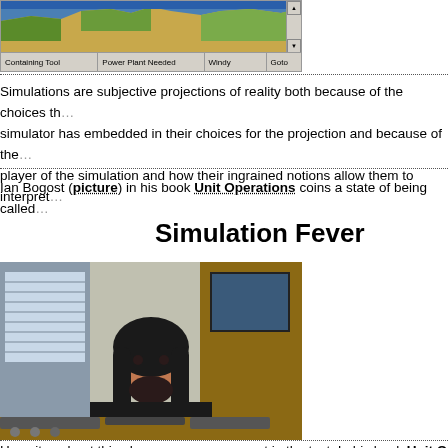[Figure (screenshot): A screenshot of a city simulation game (SimCity-like) showing a top-down view of terrain with blue water and yellow/green land, with a toolbar at the bottom showing 'Containing Tool', 'Power Plant Needed', 'Windy', and other controls with a scrollbar on the right.]
Simulations are subjective projections of reality both because of the choices the simulator has embedded in their choices for the projection and because of the player of the simulation and how their ingrained notions allow them to interpret
Ian Bogost (picture) in his book Unit Operations coins a state of being called
Simulation Fever
[Figure (photo): A photograph of Ian Bogost, a man with long dark hair and beard wearing a black shirt, sitting at a desk with keyboards/electronic equipment in front of him and a computer monitor and office items visible in the background.]
He writes about this phenomenon as present in the text. In his book...